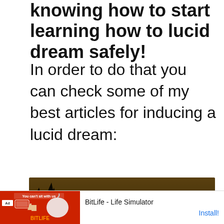knowing how to start learning how to lucid dream safely!
In order to do that you can check some of my best articles for inducing a lucid dream:
[Figure (illustration): Article card image with dark silhouette background showing trees and a person. Title reads '6 POWERFUL LUCID DREAMING TECHNIQUES FOR BEGINNERS' with a TECHNIQUES badge and subtitle '6 LUCID DREAMING TECHNIQUES For Beginners (2021)']
[Figure (screenshot): Advertisement bar for BitLife - Life Simulator app with red banner image on left showing 'You can't sit with us' text, Ad badge, and Install! button on right.]